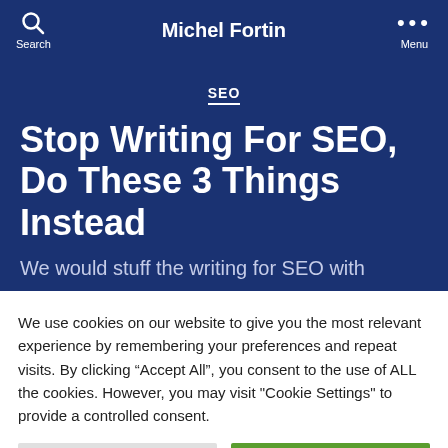Michel Fortin
SEO
Stop Writing For SEO, Do These 3 Things Instead
We would stuff the writing for SEO with
We use cookies on our website to give you the most relevant experience by remembering your preferences and repeat visits. By clicking “Accept All”, you consent to the use of ALL the cookies. However, you may visit "Cookie Settings" to provide a controlled consent.